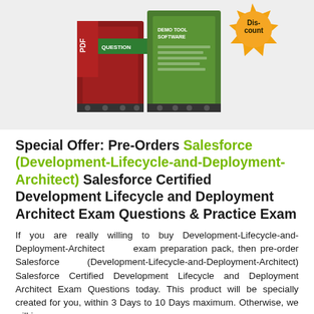[Figure (illustration): Product box image showing PDF and software packages with a gold 'Discount' badge/starburst in the top right corner. Boxes are green and dark red/maroon colored with 'QUESTION' and 'DEMO TOOL SOFTWARE' text visible.]
Special Offer: Pre-Orders Salesforce (Development-Lifecycle-and-Deployment-Architect)  Salesforce Certified Development Lifecycle and Deployment Architect Exam Questions & Practice Exam
If you are really willing to buy Development-Lifecycle-and-Deployment-Architect exam preparation pack, then pre-order Salesforce (Development-Lifecycle-and-Deployment-Architect) Salesforce Certified Development Lifecycle and Deployment Architect Exam Questions today. This product will be specially created for you, within 3 Days to 10 Days maximum. Otherwise, we will issue you a